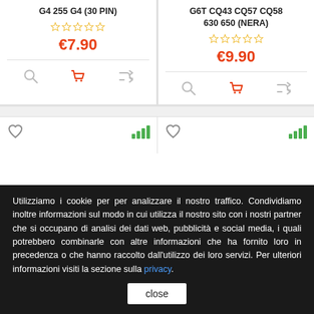G4 255 G4 (30 PIN)
G6T CQ43 CQ57 CQ58 630 650 (NERA)
€7.90
€9.90
Utilizziamo i cookie per per analizzare il nostro traffico. Condividiamo inoltre informazioni sul modo in cui utilizza il nostro sito con i nostri partner che si occupano di analisi dei dati web, pubblicità e social media, i quali potrebbero combinarle con altre informazioni che ha fornito loro in precedenza o che hanno raccolto dall'utilizzo dei loro servizi. Per ulteriori informazioni visiti la sezione sulla privacy.
close